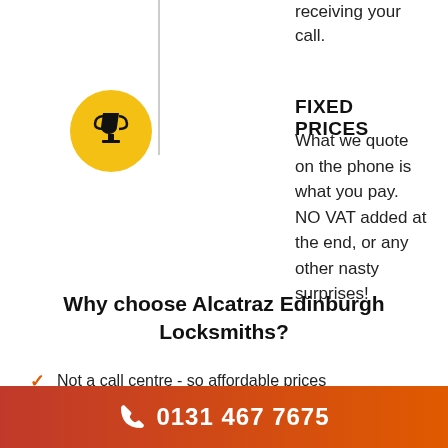receiving your call.
[Figure (illustration): Gold circle with a trophy/cup icon in black, with a vertical grey line above it]
FIXED PRICES
What we quote on the phone is what you pay. NO VAT added at the end, or any other nasty surprises!
Why choose Alcatraz Edinburgh Locksmiths?
Not a call centre - so affordable prices
All work insured and guaranteed
0131 467 7675